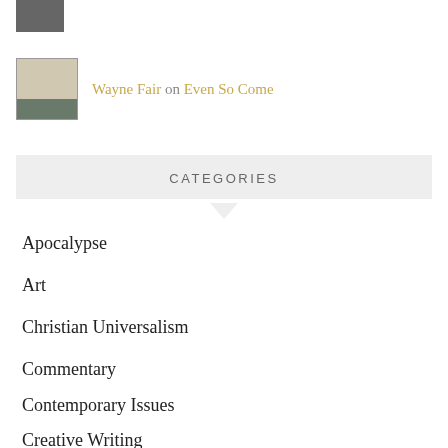[cropped name] on Even So Come
Wayne Fair on Even So Come
CATEGORIES
Apocalypse
Art
Christian Universalism
Commentary
Contemporary Issues
Creative Writing